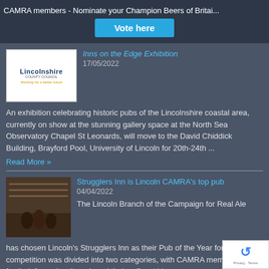CAMRA members - Nominate your Champion Beers of Britai...
Vote here
Inns on the Edge Exhibition
17/05/2022
An exhibition celebrating historic pubs of the Lincolnshire coastal area, currently on show at the stunning gallery space at the North Sea Observatory Chapel St Leonards, will move to the David Chiddick Building, Brayford Pool, University of Lincoln for 20th-24th ...
Read More »
Strugglers Inn is Lincoln CAMRA's top pub
04/04/2022
The Lincoln Branch of the Campaign for Real Ale has chosen Lincoln's Strugglers Inn as their Pub of the Year for 2022. The competition was divided into two categories, with CAMRA members voting for their favourite city pub and their ...
Read More »
Lincoln Beer Festival is Back for 2022
10/03/2022
The Beer Festival is back at the old venue with a